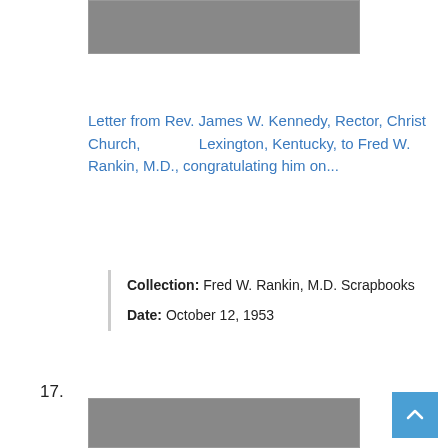[Figure (photo): Gray placeholder image at top of page]
Letter from Rev. James W. Kennedy, Rector, Christ Church, Lexington, Kentucky, to Fred W. Rankin, M.D., congratulating him on...
Collection: Fred W. Rankin, M.D. Scrapbooks
Date: October 12, 1953
17.
[Figure (photo): Gray placeholder image at bottom of page]